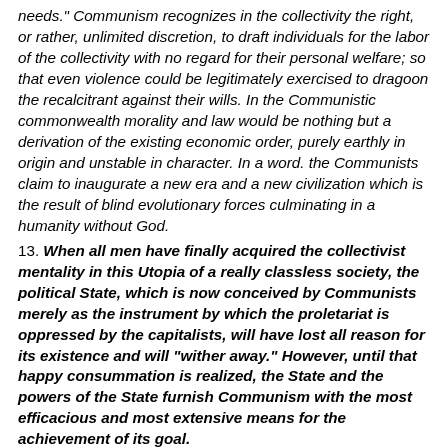needs." Communism recognizes in the collectivity the right, or rather, unlimited discretion, to draft individuals for the labor of the collectivity with no regard for their personal welfare; so that even violence could be legitimately exercised to dragoon the recalcitrant against their wills. In the Communistic commonwealth morality and law would be nothing but a derivation of the existing economic order, purely earthly in origin and unstable in character. In a word. the Communists claim to inaugurate a new era and a new civilization which is the result of blind evolutionary forces culminating in a humanity without God.
13. When all men have finally acquired the collectivist mentality in this Utopia of a really classless society, the political State, which is now conceived by Communists merely as the instrument by which the proletariat is oppressed by the capitalists, will have lost all reason for its existence and will "wither away." However, until that happy consummation is realized, the State and the powers of the State furnish Communism with the most efficacious and most extensive means for the achievement of its goal.
14. Such, Venerable Brethren, is the new gospel which bolshevistic and atheistic Communism offers the world as the glad tidings of deliverance and salvation! It is a system full of errors and sophisms. It is in opposition both to reason and to Divine Revelation. It subverts the social order, because it means the destruction of its foundations;